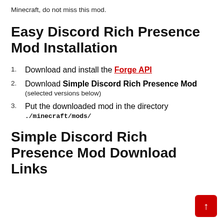Minecraft, do not miss this mod.
Easy Discord Rich Presence Mod Installation
Download and install the Forge API
Download Simple Discord Rich Presence Mod (selected versions below)
Put the downloaded mod in the directory ./minecraft/mods/
Simple Discord Rich Presence Mod Download Links